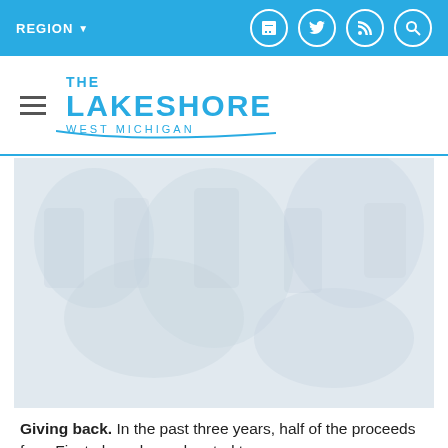REGION ▼
THE LAKESHORE WEST MICHIGAN
[Figure (photo): A large faded/washed-out photograph showing a crowd scene, likely an outdoor event or festival, with people visible in a light blue-gray toned image.]
Giving back. In the past three years, half of the proceeds from Fiesta have been donated to